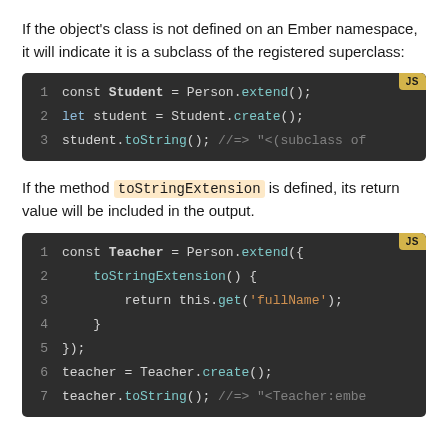If the object's class is not defined on an Ember namespace, it will indicate it is a subclass of the registered superclass:
[Figure (screenshot): JavaScript code block showing: 1) const Student = Person.extend(); 2) let student = Student.create(); 3) student.toString(); //=> "<(subclass of]
If the method toStringExtension is defined, its return value will be included in the output.
[Figure (screenshot): JavaScript code block showing: 1) const Teacher = Person.extend({ 2) toStringExtension() { 3) return this.get('fullName'); 4) } 5) }); 6) teacher = Teacher.create(); 7) teacher.toString(); //=> "<Teacher:embe]